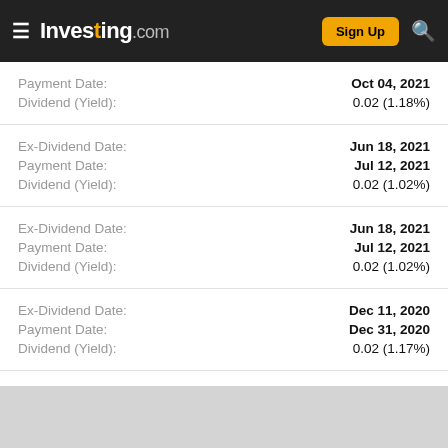Investing.com
| Field | Value |
| --- | --- |
| Payment Date: | Oct 04, 2021 |
| Dividend (Yield): | 0.02 (1.18%) |
| Ex-Dividend Date: | Jun 18, 2021 |
| Payment Date: | Jul 12, 2021 |
| Dividend (Yield): | 0.02 (1.02%) |
| Ex-Dividend Date: | Jun 18, 2021 |
| Payment Date: | Jul 12, 2021 |
| Dividend (Yield): | 0.02 (1.02%) |
| Ex-Dividend Date: | Dec 11, 2020 |
| Payment Date: | Dec 31, 2020 |
| Dividend (Yield): | 0.02 (1.17%) |
| Ex-Dividend Date: | Sep 14, 2020 |